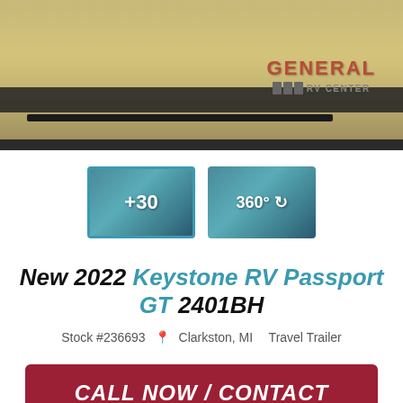[Figure (photo): Main photo showing RV/trailer chassis in a dealership showroom with General RV Center logo watermark]
[Figure (photo): Thumbnail gallery showing +30 photos option (selected with blue border) and 360-degree view option]
New 2022 Keystone RV Passport GT 2401BH
Stock #236693  Clarkston, MI  Travel Trailer
CALL NOW / CONTACT